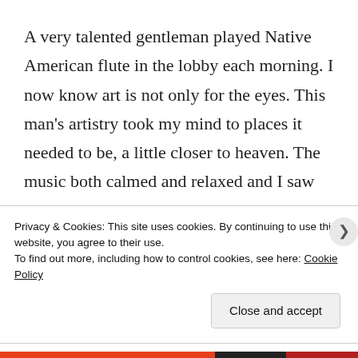A very talented gentleman played Native American flute in the lobby each morning. I now know art is not only for the eyes. This man's artistry took my mind to places it needed to be, a little closer to heaven. The music both calmed and relaxed and I saw why my sister-in-law and brother chose to
Privacy & Cookies: This site uses cookies. By continuing to use this website, you agree to their use.
To find out more, including how to control cookies, see here: Cookie Policy
Close and accept